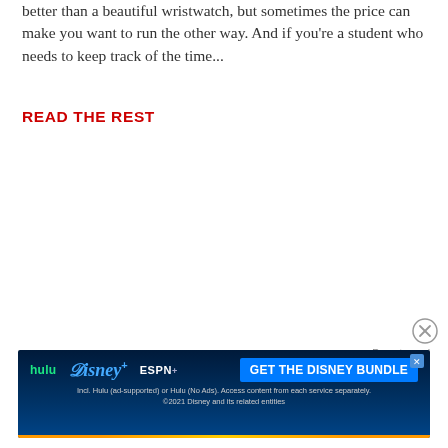better than a beautiful wristwatch, but sometimes the price can make you want to run the other way. And if you're a student who needs to keep track of the time...
READ THE REST
[Figure (other): Disney Bundle advertisement banner featuring Hulu, Disney+, and ESPN+ logos with 'GET THE DISNEY BUNDLE' call to action button. Fine print reads: Incl. Hulu (ad-supported) or Hulu (No Ads). Access content from each service separately. ©2021 Disney and its related entities.]